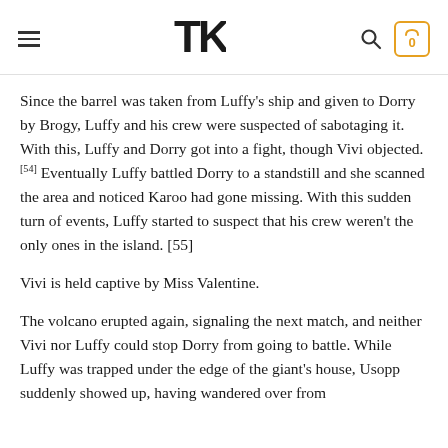TK [logo] [search] [cart: 0]
Since the barrel was taken from Luffy's ship and given to Dorry by Brogy, Luffy and his crew were suspected of sabotaging it. With this, Luffy and Dorry got into a fight, though Vivi objected.[54] Eventually Luffy battled Dorry to a standstill and she scanned the area and noticed Karoo had gone missing. With this sudden turn of events, Luffy started to suspect that his crew weren't the only ones in the island. [55]
Vivi is held captive by Miss Valentine.
The volcano erupted again, signaling the next match, and neither Vivi nor Luffy could stop Dorry from going to battle. While Luffy was trapped under the edge of the giant's house, Usopp suddenly showed up, having wandered over from